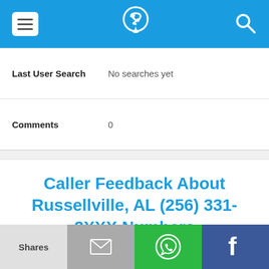[Figure (screenshot): Blue mobile app navigation bar with hamburger menu icon on left, phone/location logo in center, and search icon on right]
Last User Search    No searches yet
Comments    0
Caller Feedback About Russellville, AL (256) 331-2XXX Numbers
There's not been any feedback about calls or texts from Russellville, AL (256) 331-2XXX phone numbers yet
[Figure (screenshot): Bottom share bar with: Shares label (light gray), email icon (gray), WhatsApp icon (green), Facebook icon (dark blue)]